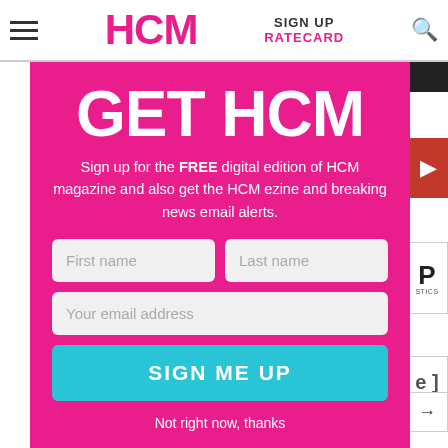HCM | SIGN UP | RATECARD
GET HCM
Sign up for the FREE digital edition of HCM magazine and also get the HCM ezine and breaking news email alerts.
First name | Last name | Your email address | SIGN ME UP | Not right now, thanks